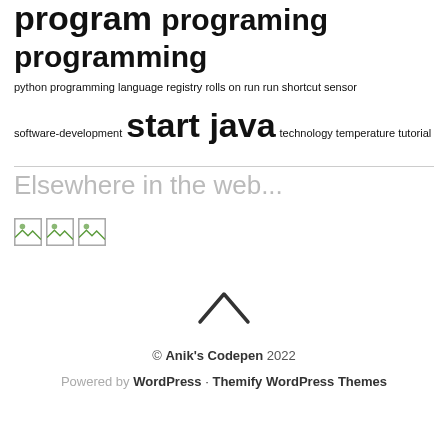program programing programming python programming language registry rolls on run run shortcut sensor software-development start java technology temperature tutorial
Elsewhere in the web...
[Figure (illustration): Three small broken/placeholder image icons in a row]
[Figure (illustration): Upward chevron/caret arrow navigation icon]
© Anik's Codepen 2022
Powered by WordPress · Themify WordPress Themes